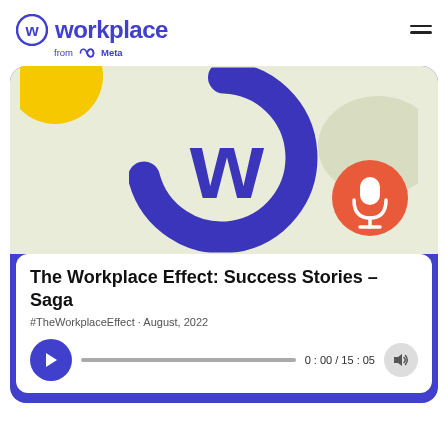[Figure (logo): Workplace from Meta logo — purple W in circle with 'workplace' text and 'from Meta' subtitle]
[Figure (illustration): Podcast card illustration: light olive/beige background with large purple Workplace W logo and orange/red microphone circle badge, plus partial yellow circle top-left. Purple border around full card.]
The Workplace Effect: Success Stories - Saga
#TheWorkplaceEffect · August, 2022
[Figure (other): Audio player bar: purple play button, grey progress bar, time display '0 : 00 / 15 : 05', grey volume icon button]